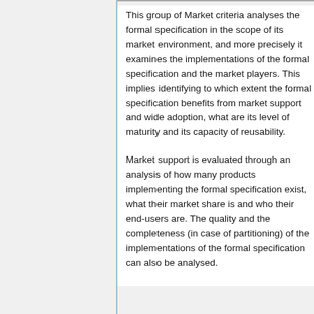This group of Market criteria analyses the formal specification in the scope of its market environment, and more precisely it examines the implementations of the formal specification and the market players. This implies identifying to which extent the formal specification benefits from market support and wide adoption, what are its level of maturity and its capacity of reusability.
Market support is evaluated through an analysis of how many products implementing the formal specification exist, what their market share is and who their end-users are. The quality and the completeness (in case of partitioning) of the implementations of the formal specification can also be analysed.